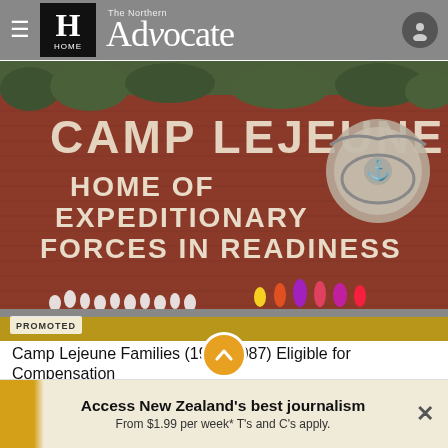The Northern Advocate — HOME
[Figure (photo): Photo of the Camp Lejeune entrance brick wall sign reading 'CAMP LEJEUNE HOME OF EXPEDITIONARY FORCES IN READINESS' with a USMC Eagle Globe and Anchor emblem, flowers placed at the base. A 'PROMOTED' badge appears at bottom left.]
Camp Lejeune Families (1953-1987) Eligible for Compensation
Camp Lejeune Lawsuit Settlement
Access New Zealand's best journalism From $1.99 per week* T's and C's apply.